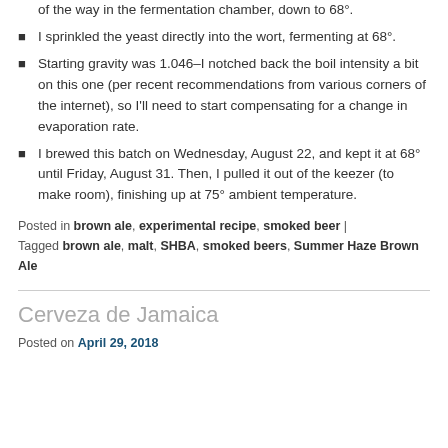of the way in the fermentation chamber, down to 68°.
I sprinkled the yeast directly into the wort, fermenting at 68°.
Starting gravity was 1.046–I notched back the boil intensity a bit on this one (per recent recommendations from various corners of the internet), so I'll need to start compensating for a change in evaporation rate.
I brewed this batch on Wednesday, August 22, and kept it at 68° until Friday, August 31. Then, I pulled it out of the keezer (to make room), finishing up at 75° ambient temperature.
Posted in brown ale, experimental recipe, smoked beer | Tagged brown ale, malt, SHBA, smoked beers, Summer Haze Brown Ale
Cerveza de Jamaica
Posted on April 29, 2018